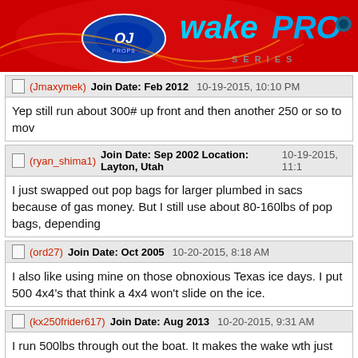[Figure (illustration): WakePro Series banner with red background, OJ Props logo, and WakePro Series text in blue and grey]
(Jmaxymek) Join Date: Feb 2012  10-19-2015, 10:10 PM
Yep still run about 300# up front and then another 250 or so to mov
(ryan_shima1) Join Date: Sep 2002 Location: Layton, Utah  10-19-2015, 11:1
I just swapped out pop bags for larger plumbed in sacs because of gas money. But I still use about 80-160lbs of pop bags, depending
(ord27) Join Date: Oct 2005  10-20-2015, 8:18 AM
I also like using mine on those obnoxious Texas ice days. I put 500 4x4's that think a 4x4 won't slide on the ice.
(kx250frider617) Join Date: Aug 2013  10-20-2015, 9:31 AM
I run 500lbs through out the boat. It makes the wake wth just factor
(wakeworld) Join Date: Jan 1997  10-20-2015, 9:38 AM
I use Pop Bags and Lead Wake bags. I don't tow far, so it works fo are super easy to move around to level the boat.
(ragboy) Join Date: Aug 2007  10-20-2015, 9:46 AM
Lead wake bags are very hard to find, but they are the only thing w are filled with the same material as the pop bags.